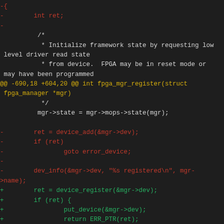[Figure (screenshot): A code diff shown in a dark-themed editor. Shows removed lines (red) and added lines (green) for a C source file. Context lines include a comment about initializing framework state, a hunk header line in yellow, and code for device_add/device_register, error handling, and return statements.]